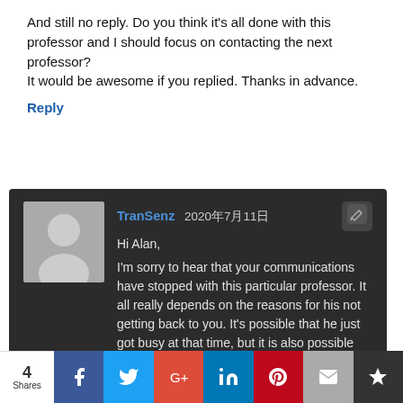And still no reply. Do you think it's all done with this professor and I should focus on contacting the next professor?
It would be awesome if you replied. Thanks in advance.
Reply
[Figure (other): Dark comment box with avatar placeholder, author TranSenz, date 2020年7月11日, and reply text starting with Hi Alan, I'm sorry to hear that your communications have stopped with this particular professor. It all really depends on the reasons for his not getting back to you. It's possible that he just got busy at that time, but it is also possible]
4 Shares | Facebook | Twitter | Google+ | LinkedIn | Pinterest | Email | Crown